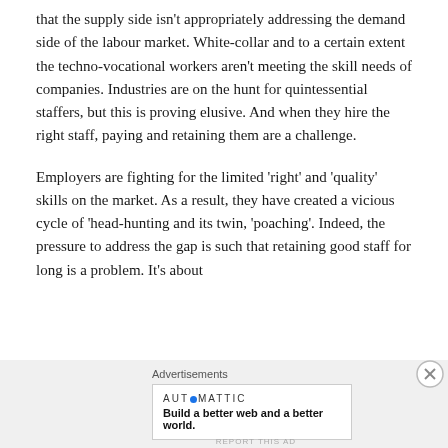that the supply side isn't appropriately addressing the demand side of the labour market. White-collar and to a certain extent the techno-vocational workers aren't meeting the skill needs of companies. Industries are on the hunt for quintessential staffers, but this is proving elusive. And when they hire the right staff, paying and retaining them are a challenge.
Employers are fighting for the limited 'right' and 'quality' skills on the market. As a result, they have created a vicious cycle of 'head-hunting and its twin, 'poaching'. Indeed, the pressure to address the gap is such that retaining good staff for long is a problem. It's about
Advertisements
[Figure (other): Advertisement banner: AUTOMATTIC logo with tagline 'Build a better web and a better world.']